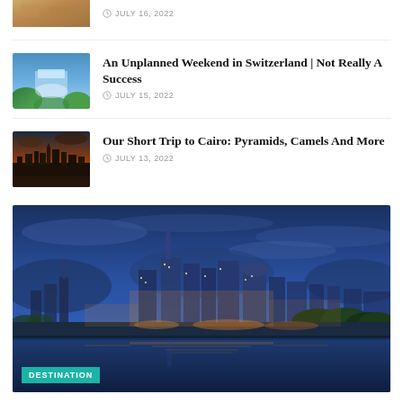[Figure (photo): Partial thumbnail of an article image cropped at top of page]
JULY 16, 2022
[Figure (photo): Thumbnail photo of a waterfall or river landscape in Switzerland]
An Unplanned Weekend in Switzerland | Not Really A Success
JULY 15, 2022
[Figure (photo): Thumbnail photo of Cairo skyline at sunset with dramatic clouds]
Our Short Trip to Cairo: Pyramids, Camels And More
JULY 13, 2022
[Figure (photo): Large photo of Nashville city skyline at night reflected in water, with a teal DESTINATION badge in the lower left corner]